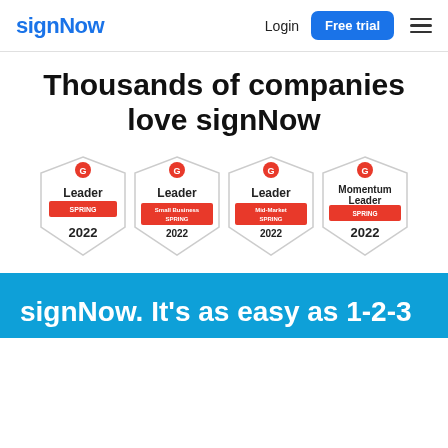signNow | Login | Free trial
Thousands of companies love signNow
[Figure (logo): Four G2 award badges: Leader Spring 2022, Leader Small Business Spring 2022, Leader Mid-Market Spring 2022, Momentum Leader Spring 2022]
signNow. It's as easy as 1-2-3